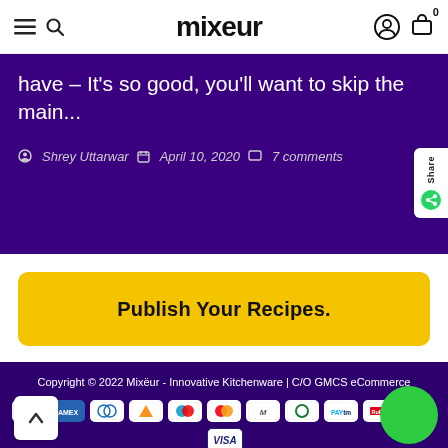mixeur
have – It's so good, you'll want to skip the main...
Shrey Uttarwar   April 10, 2020   7 comments
Publish Your Recipes.
Copyright © 2022 Mixëur - Innovative Kitchenware | C/O GMCS eCommerce